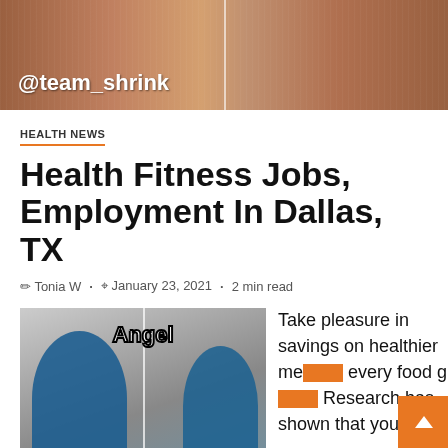[Figure (photo): Header image showing hands/arms with @team_shrink watermark text, split into two photo panels]
HEALTH NEWS
Health Fitness Jobs, Employment In Dallas, TX
Tonia W · January 23, 2021 · 2 min read
[Figure (photo): Before and after photo labeled 'Angel' showing a woman's weight loss transformation split into two panels]
Take pleasure in savings on healthier me every food g Research has shown that your